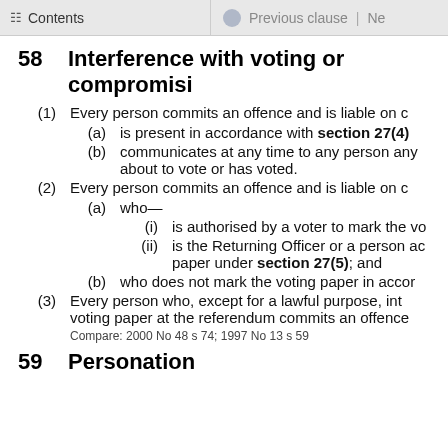Contents | Previous clause | Ne
58  Interference with voting or compromisi...
(1)  Every person commits an offence and is liable on c
(a)  is present in accordance with section 27(4)
(b)  communicates at any time to any person any... about to vote or has voted.
(2)  Every person commits an offence and is liable on c
(a)  who—
(i)  is authorised by a voter to mark the vo
(ii)  is the Returning Officer or a person a... paper under section 27(5); and
(b)  who does not mark the voting paper in accor
(3)  Every person who, except for a lawful purpose, int... voting paper at the referendum commits an offence
Compare: 2000 No 48 s 74; 1997 No 13 s 59
59  Personation